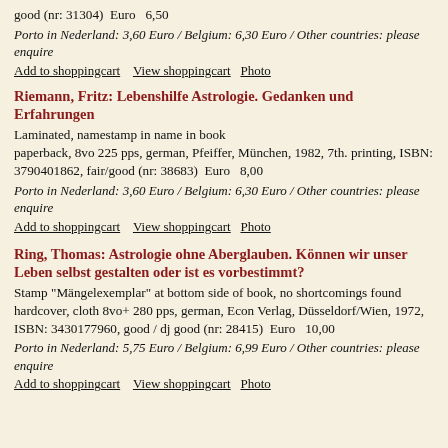good (nr: 31304)  Euro   6,50
Porto in Nederland: 3,60 Euro / Belgium: 6,30 Euro / Other countries: please enquire
Add to shoppingcart    View shoppingcart    Photo
Riemann, Fritz: Lebenshilfe Astrologie. Gedanken und Erfahrungen
Laminated, namestamp in name in book
paperback, 8vo 225 pps, german, Pfeiffer, München, 1982, 7th. printing, ISBN: 3790401862, fair/good (nr: 38683)  Euro   8,00
Porto in Nederland: 3,60 Euro / Belgium: 6,30 Euro / Other countries: please enquire
Add to shoppingcart    View shoppingcart    Photo
Ring, Thomas: Astrologie ohne Aberglauben. Können wir unser Leben selbst gestalten oder ist es vorbestimmt?
Stamp "Mängelexemplar" at bottom side of book, no shortcomings found
hardcover, cloth 8vo+ 280 pps, german, Econ Verlag, Düsseldorf/Wien, 1972, ISBN: 3430177960, good / dj good (nr: 28415)  Euro   10,00
Porto in Nederland: 5,75 Euro / Belgium: 6,99 Euro / Other countries: please enquire
Add to shoppingcart    View shoppingcart    Photo